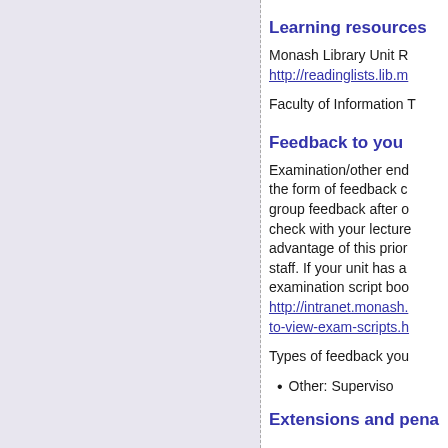Learning resources
Monash Library Unit Reading lists http://readinglists.lib.m...
Faculty of Information T...
Feedback to you
Examination/other end... the form of feedback c... group feedback after o... check with your lecture... advantage of this prior... staff. If your unit has a... examination script boo... http://intranet.monash.... to-view-exam-scripts.h...
Types of feedback you...
Other: Superviso...
Extensions and pena...